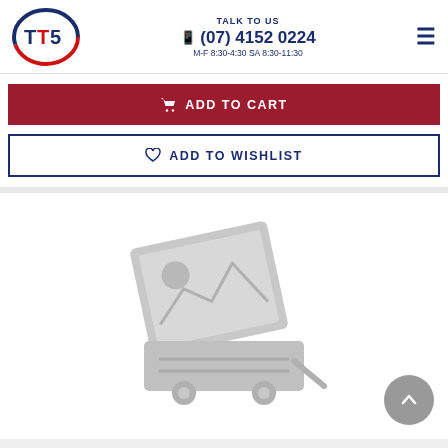TALK TO US | (07) 4152 0224 | M-F 8:30-4:30 SA 8:30-11:30
ADD TO CART
ADD TO WISHLIST
[Figure (photo): Placeholder product image showing a generic image placeholder icon (camera/landscape icon) with a shopping cart icon below, displayed on a white background.]